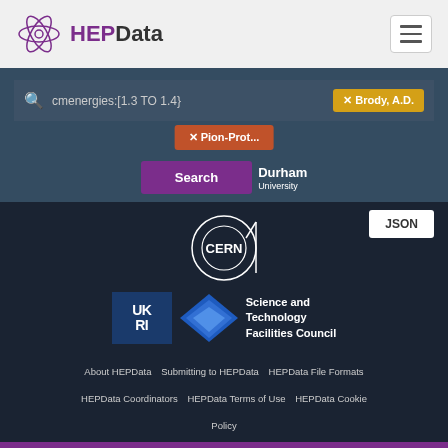[Figure (logo): HEPData logo with circular atom-like icon and text 'HEPData' in purple and dark grey]
[Figure (screenshot): Search interface with query 'cmenergies:[1.3 TO 1.4]', filter tags 'Brody, A.D.' (yellow) and 'Pion-Prot...' (orange), and a purple Search button]
[Figure (logo): Durham University logo]
[Figure (logo): CERN logo circular design]
[Figure (logo): UKRI Science and Technology Facilities Council logo]
About HEPData   Submitting to HEPData   HEPData File Formats   HEPData Coordinators   HEPData Terms of Use   HEPData Cookie Policy